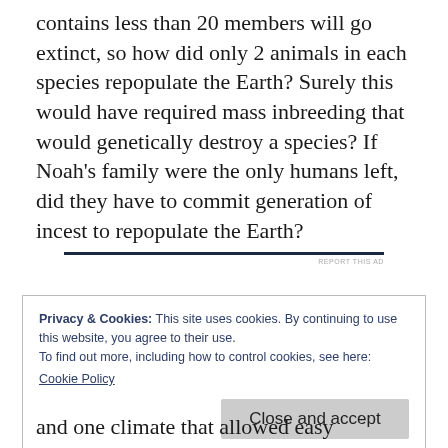contains less than 20 members will go extinct, so how did only 2 animals in each species repopulate the Earth? Surely this would have required mass inbreeding that would genetically destroy a species? If Noah's family were the only humans left, did they have to commit generation of incest to repopulate the Earth?
REPORT THIS AD
Privacy & Cookies: This site uses cookies. By continuing to use this website, you agree to their use.
To find out more, including how to control cookies, see here:
Cookie Policy
Close and accept
and one climate that allowed easy migration